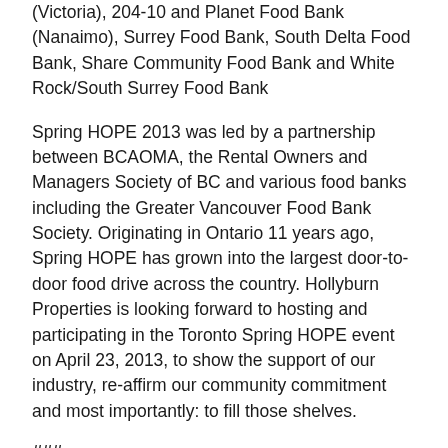(Victoria), 204-10 and Planet Food Bank (Nanaimo), Surrey Food Bank, South Delta Food Bank, Share Community Food Bank and White Rock/South Surrey Food Bank
Spring HOPE 2013 was led by a partnership between BCAOMA, the Rental Owners and Managers Society of BC and various food banks including the Greater Vancouver Food Bank Society. Originating in Ontario 11 years ago, Spring HOPE has grown into the largest door-to-door food drive across the country. Hollyburn Properties is looking forward to hosting and participating in the Toronto Spring HOPE event on April 23, 2013, to show the support of our industry, re-affirm our community commitment and most importantly: to fill those shelves.
###
Media Inquiries: